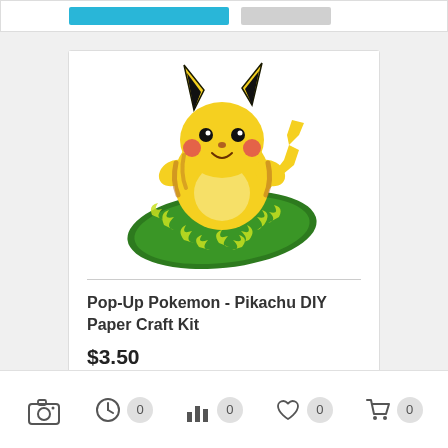[Figure (screenshot): Top partial card with blue Add to cart button and gray button]
[Figure (photo): Pop-Up Pikachu paper craft model on green base with yellow lightning effects]
Pop-Up Pokemon - Pikachu DIY Paper Craft Kit
$3.50
[Figure (other): Add to cart button with heart and bar chart icons]
[Figure (other): Bottom navigation bar with camera, clock, bar chart, heart, and cart icons each showing 0 badge]